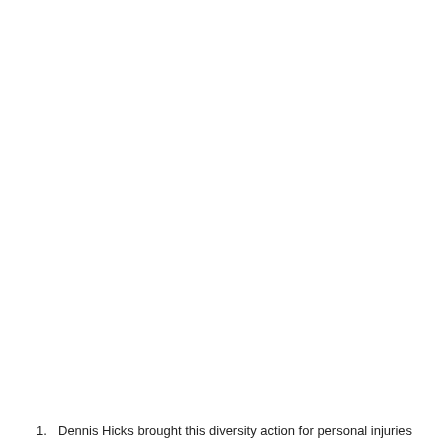1. Dennis Hicks brought this diversity action for personal injuries